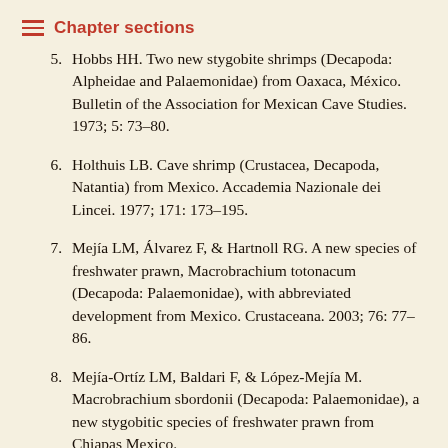Chapter sections
Hobbs HH. Two new stygobite shrimps (Decapoda: Alpheidae and Palaemonidae) from Oaxaca, México. Bulletin of the Association for Mexican Cave Studies. 1973; 5: 73–80.
6. Holthuis LB. Cave shrimp (Crustacea, Decapoda, Natantia) from Mexico. Accademia Nazionale dei Lincei. 1977; 171: 173–195.
7. Mejía LM, Álvarez F, & Hartnoll RG. A new species of freshwater prawn, Macrobrachium totonacum (Decapoda: Palaemonidae), with abbreviated development from Mexico. Crustaceana. 2003; 76: 77–86.
8. Mejía-Ortíz LM, Baldari F, & López-Mejía M. Macrobrachium sbordonii (Decapoda: Palaemonidae), a new stygobitic species of freshwater prawn from Chiapas Mexico.